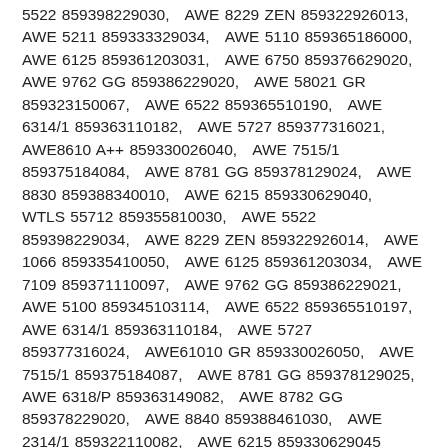5522 859398229030,   AWE 8229 ZEN 859322926013,   AWE 5211 859333329034,   AWE 5110 859365186000,   AWE 6125 859361203031,   AWE 6750 859376629020,   AWE 9762 GG 859386229020,   AWE 58021 GR 859323150067,   AWE 6522 859365510190,   AWE 6314/1 859363110182,   AWE 5727 859377316021,   AWE8610 A++ 859330026040,   AWE 7515/1 859375184084,   AWE 8781 GG 859378129024,   AWE 8830 859388340010,   AWE 6215 859330629040,   WTLS 55712 859355810030,   AWE 5522 859398229034,   AWE 8229 ZEN 859322926014,   AWE 1066 859335410050,   AWE 6125 859361203034,   AWE 7109 859371110097,   AWE 9762 GG 859386229021,   AWE 5100 859345103114,   AWE 6522 859365510197,   AWE 6314/1 859363110184,   AWE 5727 859377316024,   AWE61010 GR 859330026050,   AWE 7515/1 859375184087,   AWE 8781 GG 859378129025,   AWE 6318/P 859363149082,   AWE 8782 GG 859378229020,   AWE 8840 859388461030,   AWE 2314/1 859322110082,   AWE 6215 859330629045